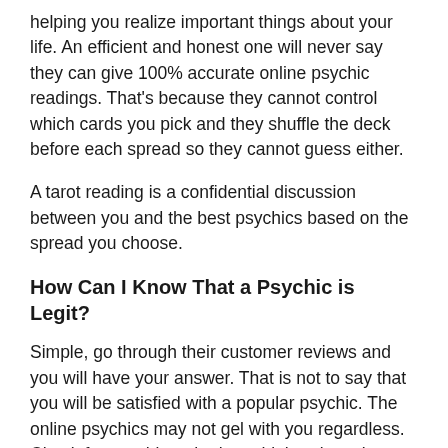helping you realize important things about your life. An efficient and honest one will never say they can give 100% accurate online psychic readings. That’s because they cannot control which cards you pick and they shuffle the deck before each spread so they cannot guess either.
A tarot reading is a confidential discussion between you and the best psychics based on the spread you choose.
How Can I Know That a Psychic is Legit?
Simple, go through their customer reviews and you will have your answer. That is not to say that you will be satisfied with a popular psychic. The online psychics may not gel with you regardless. Check for psychics who have high ratings, but don’t leave common sense behind either. If a psychic seems too good to be true, move on to the next one. You can only know if you are talking to the real deal when you attend sessions. Let your instincts and research guide you for online psychics.